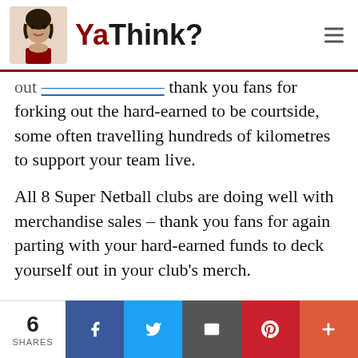YaThink?
out the hard-earned to be courtside, some often travelling hundreds of kilometres to support your team live.
All 8 Super Netball clubs are doing well with merchandise sales – thank you fans for again parting with your hard-earned funds to deck yourself out in your club's merch.
6 SHARES | Facebook | Twitter | Email | Pinterest | More